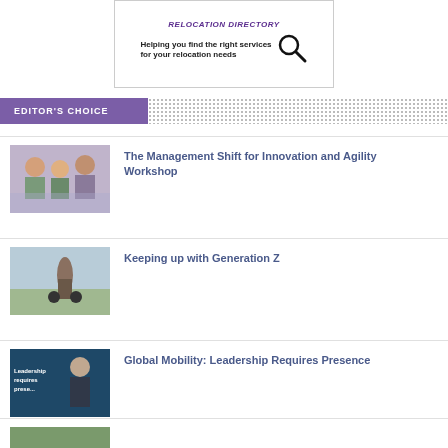[Figure (other): Relocation directory banner ad with search magnifier icon and text: Helping you find the right services for your relocation needs]
EDITOR'S CHOICE
[Figure (photo): Photo of people in a workshop meeting setting]
The Management Shift for Innovation and Agility Workshop
[Figure (photo): Photo of person on a skateboard or scooter outdoors]
Keeping up with Generation Z
[Figure (photo): Photo with text overlay: Leadership requires presence]
Global Mobility: Leadership Requires Presence
[Figure (photo): Partial photo at bottom of page, cropped]